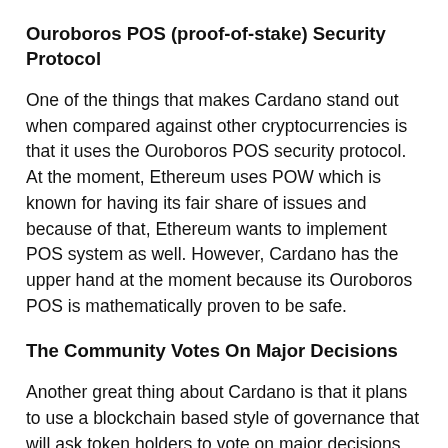Ouroboros POS (proof-of-stake) Security Protocol
One of the things that makes Cardano stand out when compared against other cryptocurrencies is that it uses the Ouroboros POS security protocol. At the moment, Ethereum uses POW which is known for having its fair share of issues and because of that, Ethereum wants to implement POS system as well. However, Cardano has the upper hand at the moment because its Ouroboros POS is mathematically proven to be safe.
The Community Votes On Major Decisions
Another great thing about Cardano is that it plans to use a blockchain based style of governance that will ask token holders to vote on major decisions. Therefore, the Cardano community will play a major role in the development of the cryptocurrency and everything else that matters. In addition, this feature will